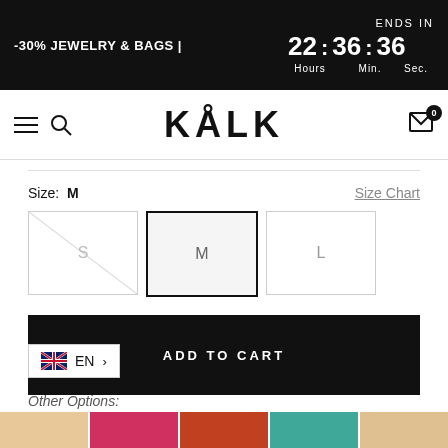-30% JEWELRY & BAGS | ENDS IN 22 : 36 : 36 Hours Min. Sec.
[Figure (logo): KÅLK brand logo with hamburger menu, search icon, and cart icon with 0 badge]
Size: M
Size Chart
S  M  L
ADD TO CART
[Figure (screenshot): Language selector showing UK flag and EN with chevron]
Other Options:
[Figure (photo): Thumbnail strip of product photos in various colors]